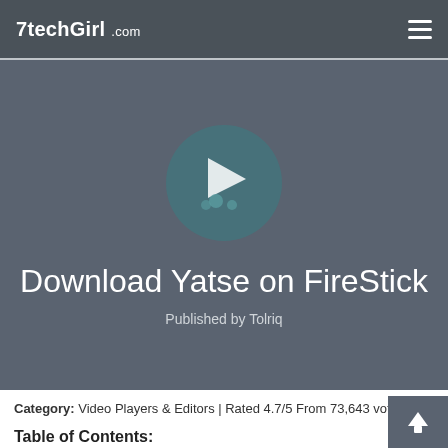7techGirl .com
[Figure (logo): Yatse app logo: teal circle with a white play button and paw print icon]
Download Yatse on FireStick
Published by Tolriq
Category: Video Players & Editors | Rated 4.7/5 From 73,643 votes
Table of Contents: